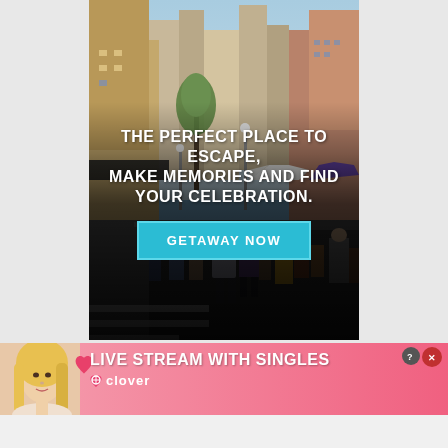[Figure (photo): Busy urban street scene with crowd of people walking, market tents, tall buildings, trees, and street lights. Overlaid with bold white and teal promotional text.]
THE PERFECT PLACE TO ESCAPE, MAKE MEMORIES AND FIND YOUR CELEBRATION.
GETAWAY NOW
[Figure (photo): Banner advertisement with pink gradient background. Shows a blonde woman on the left side with pink hearts, bold white text 'LIVE STREAM WITH SINGLES' and Clover dating app logo.]
LIVE STREAM WITH SINGLES
clover